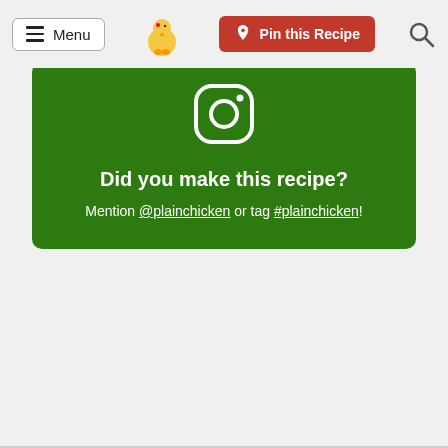Menu | Pin this Recipe
[Figure (infographic): Green card with Instagram icon, bold white text 'Did you make this recipe?' and mention text '@plainchicken or tag #plainchicken!']
Did you make this recipe?
Mention @plainchicken or tag #plainchicken!